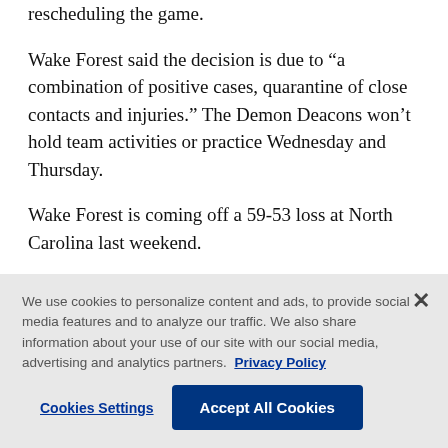rescheduling the game.
Wake Forest said the decision is due to “a combination of positive cases, quarantine of close contacts and injuries.” The Demon Deacons won’t hold team activities or practice Wednesday and Thursday.
Wake Forest is coming off a 59-53 loss at North Carolina last weekend.
The move comes a day after the ACC announced
We use cookies to personalize content and ads, to provide social media features and to analyze our traffic. We also share information about your use of our site with our social media, advertising and analytics partners. Privacy Policy
Cookies Settings | Accept All Cookies